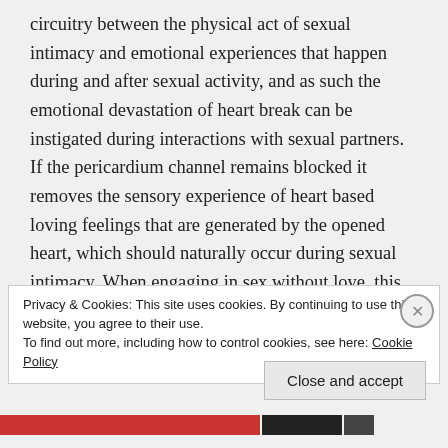circuitry between the physical act of sexual intimacy and emotional experiences that happen during and after sexual activity, and as such the emotional devastation of heart break can be instigated during interactions with sexual partners. If the pericardium channel remains blocked it removes the sensory experience of heart based loving feelings that are generated by the opened heart, which should naturally occur during sexual intimacy. When engaging in sex without love, this greatly disrupts
Privacy & Cookies: This site uses cookies. By continuing to use this website, you agree to their use.
To find out more, including how to control cookies, see here: Cookie Policy
Close and accept